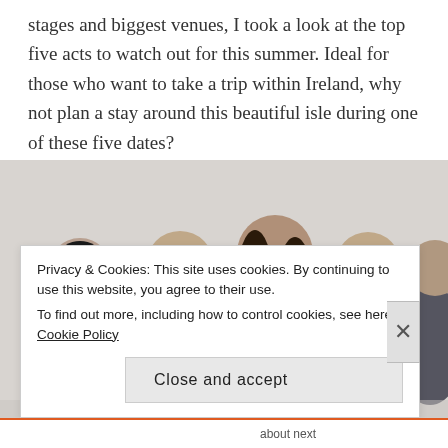stages and biggest venues, I took a look at the top five acts to watch out for this summer. Ideal for those who want to take a trip within Ireland, why not plan a stay around this beautiful isle during one of these five dates?
[Figure (photo): Black and white photo of five male band members (Foo Fighters) standing together against a white background. The central figure has long hair and a beard wearing a Connecticut Death Match t-shirt.]
Privacy & Cookies: This site uses cookies. By continuing to use this website, you agree to their use.
To find out more, including how to control cookies, see here: Cookie Policy
Close and accept